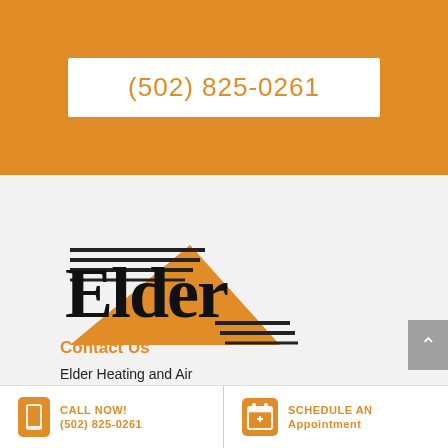(502) 825-0261
[Figure (logo): Elder Heating and Air logo — orange triangle/arrow shape with horizontal lines and bold black 'Elder' text]
Contact Us
Elder Heating and Air
5800 Fern Valley Rd.
Suite 100,
Louisville, KY 40228
CALL NOW! (502) 825-0261   |   SCHEDULE AN Appointment